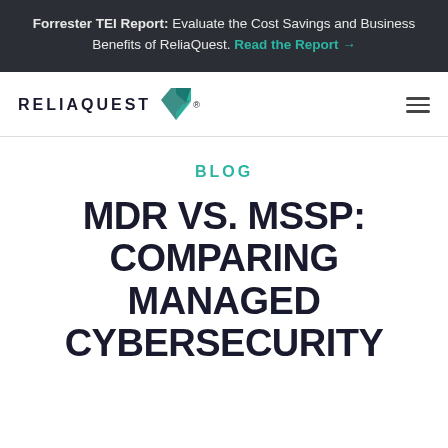Forrester TEI Report: Evaluate the Cost Savings and Business Benefits of ReliaQuest. Read the Report →
[Figure (logo): ReliaQuest logo with geometric diamond/arrow icon in teal and dark teal colors, with RELIAQUEST® wordmark in dark navy uppercase letters]
BLOG
MDR VS. MSSP: COMPARING MANAGED CYBERSECURITY